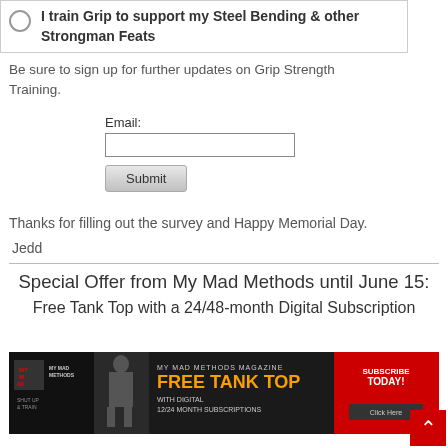I train Grip to support my Steel Bending & other Strongman Feats
Be sure to sign up for further updates on Grip Strength Training.
Email:
Thanks for filling out the survey and Happy Memorial Day.
Jedd
Special Offer from My Mad Methods until June 15: Free Tank Top with a 24/48-month Digital Subscription
[Figure (infographic): My Mad Methods Magazine advertisement banner showing 'FREE TANK TOP with Digital 12/24 Month Subscriptions' with a red Subscribe Today button and a Click Here call to action.]